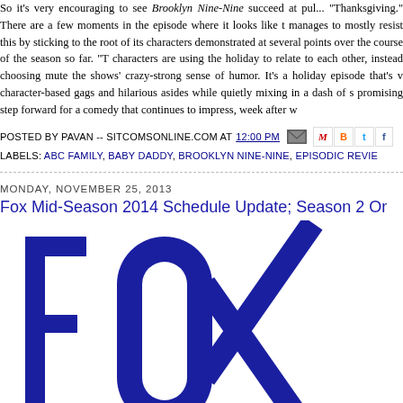So it's very encouraging to see Brooklyn Nine-Nine succeed at pulling off "Thanksgiving." There are a few moments in the episode where it looks like the show manages to mostly resist this by sticking to the root of its characters, as demonstrated at several points over the course of the season so far. "Thanksgiving" characters are using the holiday to relate to each other, instead choosing to mute the shows' crazy-strong sense of humor. It's a holiday episode that's well-placed character-based gags and hilarious asides while quietly mixing in a dash of s... promising step forward for a comedy that continues to impress, week after w...
POSTED BY PAVAN -- SITCOMSONLINE.COM AT 12:00 PM
LABELS: ABC FAMILY, BABY DADDY, BROOKLYN NINE-NINE, EPISODIC REVIE...
MONDAY, NOVEMBER 25, 2013
Fox Mid-Season 2014 Schedule Update; Season 2 Or...
[Figure (logo): FOX network logo — large bold blue letters 'FOX' on white background]